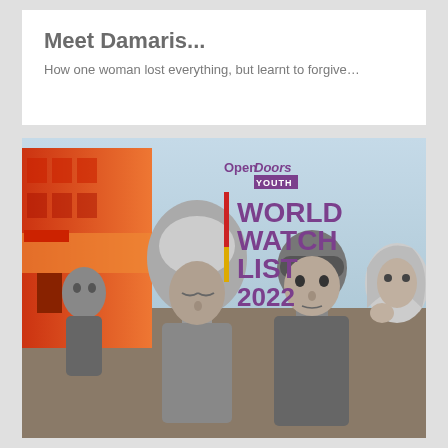Meet Damaris...
How one woman lost everything, but learnt to forgive…
[Figure (photo): Open Doors Youth World Watch List 2022 promotional image featuring four young people of diverse backgrounds against a light blue sky with an orange/red building on the left. Text overlay shows 'Open Doors Youth' logo and 'WORLD WATCH LIST 2022' in purple with a red and yellow vertical bar accent.]